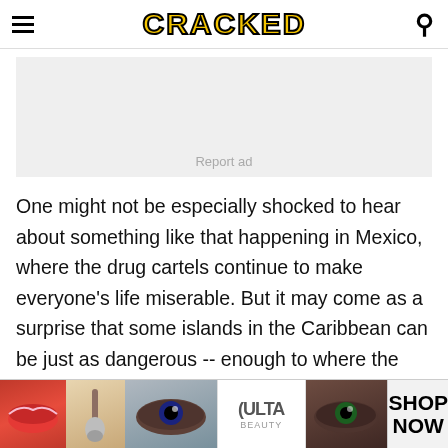CRACKED
[Figure (other): Advertisement placeholder box with 'Report ad' text]
One might not be especially shocked to hear about something like that happening in Mexico, where the drug cartels continue to make everyone's life miserable. But it may come as a surprise that some islands in the Caribbean can be just as dangerous -- enough to where the U.S. State Department and its
[Figure (other): Ulta Beauty advertisement banner at bottom with makeup imagery and 'SHOP NOW' text]